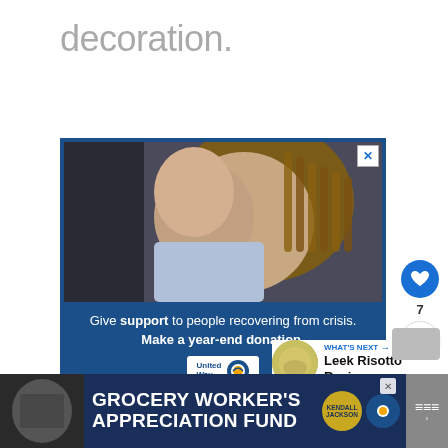decoration.
[Figure (infographic): United Way advertisement showing a woman kissing a child on the forehead, with text 'Give support to people recovering from crisis. Make a year-end donation.' and United Way logo on blue background]
[Figure (infographic): WHAT'S NEXT panel showing a thumbnail image of risotto and text 'Leek Risotto Recipe']
[Figure (infographic): Bottom banner ad: Grocery Worker's Appreciation Fund with Kendall-Jackson and United Way logos]